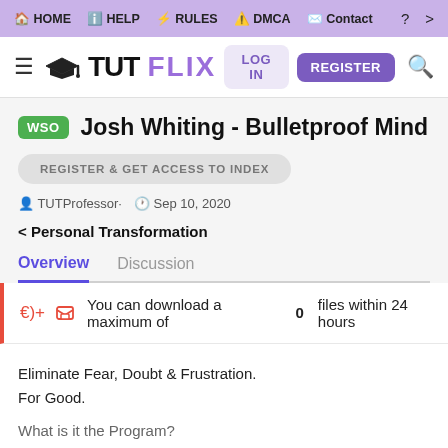HOME  HELP  RULES  DMCA  Contact  ?  >
[Figure (logo): TUTFLIX logo with graduation cap icon, LOG IN and REGISTER buttons, search icon]
WSO  Josh Whiting - Bulletproof Mind
REGISTER & GET ACCESS TO INDEX
TUTProfessor·  Sep 10, 2020
< Personal Transformation
Overview   Discussion
You can download a maximum of 0 files within 24 hours
Eliminate Fear, Doubt & Frustration.
For Good.
What is it the Program?